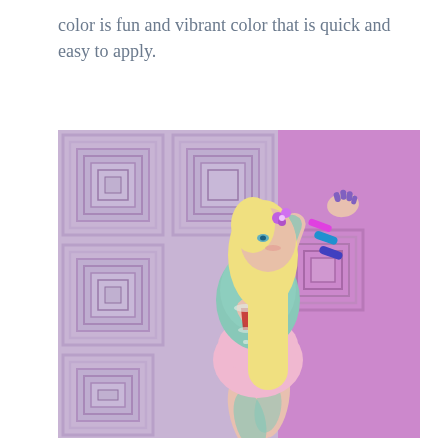color is fun and vibrant color that is quick and easy to apply.
[Figure (illustration): A 3D rendered video game character (Sims-style) — a blonde woman with long hair and purple flower hair accessory, wearing a teal/turquoise floral tattoo bodysuit top and light pink shorts. She is posing with one arm raised and holding a glass of red wine in the other hand. She wears colorful bracelets on her raised arm. The background is a lavender/purple room with geometric square panel wall decorations on the left and a solid purple wall on the right.]